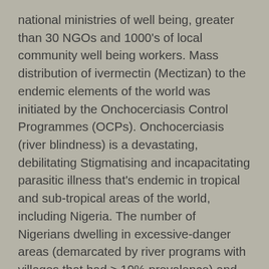national ministries of well being, greater than 30 NGOs and 1000's of local community well being workers. Mass distribution of ivermectin (Mectizan) to the endemic elements of the world was initiated by the Onchocerciasis Control Programmes (OCPs). Onchocerciasis (river blindness) is a devastating, debilitating Stigmatising and incapacitating parasitic illness that's endemic in tropical and sub-tropical areas of the world, including Nigeria. The number of Nigerians dwelling in excessive-danger areas (demarcated by river programs with villages that had ≥ 19% prevalence) and who due to this fact require pressing Mectizan therapy, was estimated as thirteen 809 313. The nationwide REMO map produced is allowing the African Programme for Onchocerciasis Control's technical consultative committee to prioritize the approval of proposals submitted from Nigeria in a rational and efficient method. The supply and drug approval system established for onchocerciasis is now being used for lymphatic filariasis.